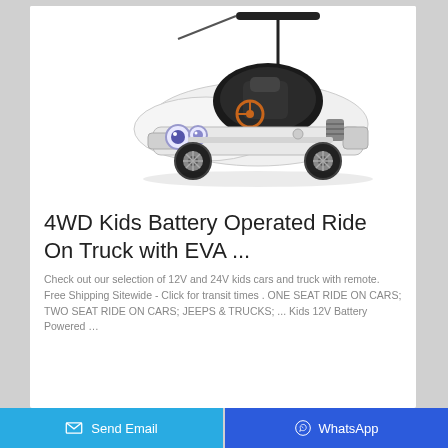[Figure (photo): White battery-operated kids ride-on toy car with black accents, a push handle bar overhead, steering wheel, and sport car styling]
4WD Kids Battery Operated Ride On Truck with EVA ...
Check out our selection of 12V and 24V kids cars and truck with remote. Free Shipping Sitewide - Click for transit times . ONE SEAT RIDE ON CARS; TWO SEAT RIDE ON CARS; JEEPS & TRUCKS; ... Kids 12V Battery Powered …
Send Email | WhatsApp